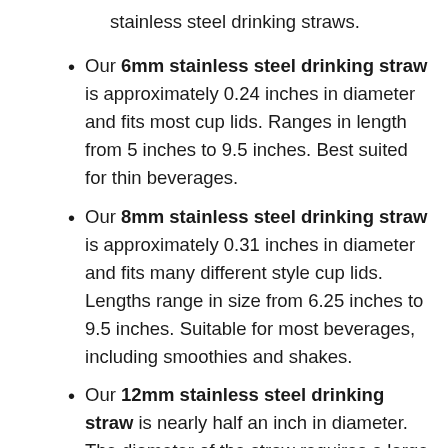stainless steel drinking straws.
Our 6mm stainless steel drinking straw is approximately 0.24 inches in diameter and fits most cup lids. Ranges in length from 5 inches to 9.5 inches. Best suited for thin beverages.
Our 8mm stainless steel drinking straw is approximately 0.31 inches in diameter and fits many different style cup lids. Lengths range in size from 6.25 inches to 9.5 inches. Suitable for most beverages, including smoothies and shakes.
Our 12mm stainless steel drinking straw is nearly half an inch in diameter. The diameter of the straw requires a large